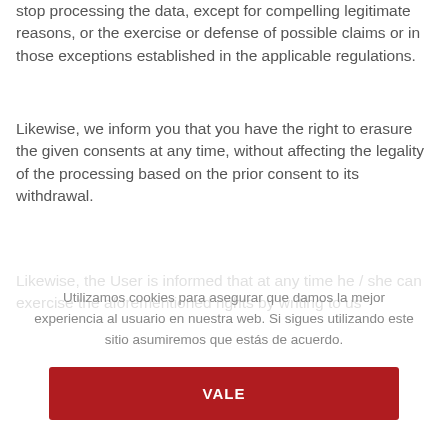stop processing the data, except for compelling legitimate reasons, or the exercise or defense of possible claims or in those exceptions established in the applicable regulations.
Likewise, we inform you that you have the right to erasure the given consents at any time, without affecting the legality of the processing based on the prior consent to its withdrawal.
Likewise, the User is informed that at any time he / she can exercise the aforementioned rights by writing to us...
Utilizamos cookies para asegurar que damos la mejor experiencia al usuario en nuestra web. Si sigues utilizando este sitio asumiremos que estás de acuerdo.
VALE